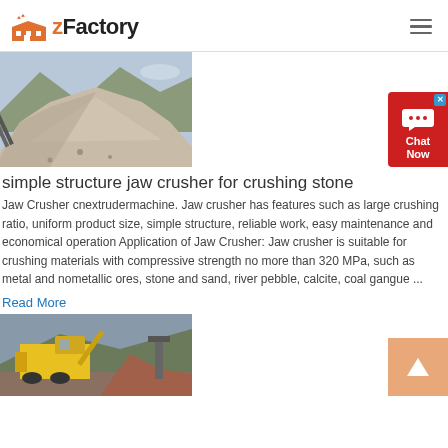zFactory
[Figure (photo): Photo of a large pile of crushed stone/gravel at a quarry with conveyor equipment in the background]
simple structure jaw crusher for crushing stone
Jaw Crusher cnextrudermachine. Jaw crusher has features such as large crushing ratio, uniform product size, simple structure, reliable work, easy maintenance and economical operation Application of Jaw Crusher: Jaw crusher is suitable for crushing materials with compressive strength no more than 320 MPa, such as metal and nometallic ores, stone and sand, river pebble, calcite, coal gangue ...
Read More
[Figure (photo): Photo of yellow heavy crushing machinery and equipment at a quarry/mining site]